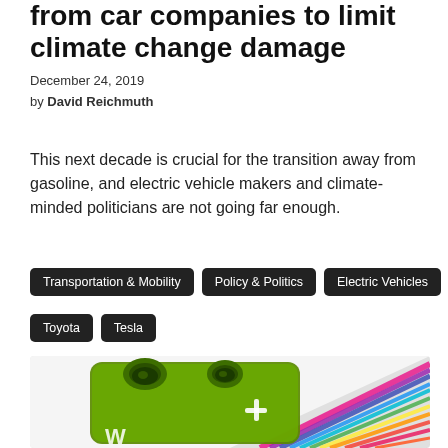from car companies to limit climate change damage
December 24, 2019
by David Reichmuth
This next decade is crucial for the transition away from gasoline, and electric vehicle makers and climate-minded politicians are not going far enough.
Transportation & Mobility
Policy & Politics
Electric Vehicles
Toyota
Tesla
[Figure (photo): Green metallic battery or fuel cell component photographed against a colorful rainbow-striped background.]